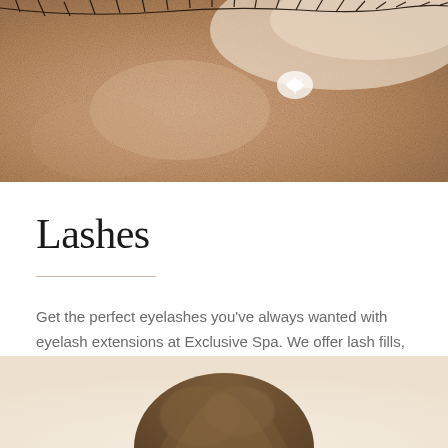[Figure (photo): Close-up macro photograph of a human eye area showing skin texture near the inner corner of the eye with eyelashes visible at the top and a small highlight or sparkle near the inner corner]
Lashes
Get the perfect eyelashes you've always wanted with eyelash extensions at Exclusive Spa. We offer lash fills, lifts, tints, and baths.
[Figure (photo): Photo showing top of a person's head with brown hair against a warm cream/beige background, partially visible at the bottom of the page]